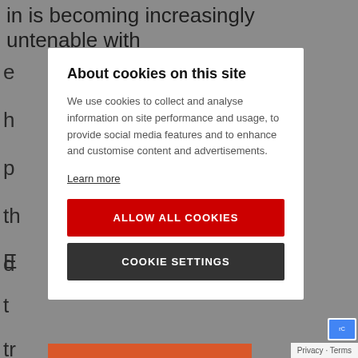in is becoming increasingly untenable with
e
h
p
th
d
E
t
tr
About cookies on this site
We use cookies to collect and analyse information on site performance and usage, to provide social media features and to enhance and customise content and advertisements.
Learn more
ALLOW ALL COOKIES
COOKIE SETTINGS
Privacy · Terms